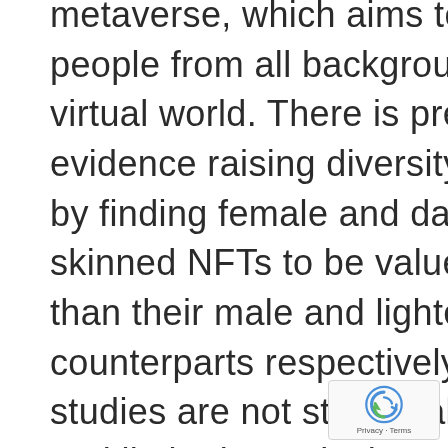metaverse, which aims to connect people from all backgrounds in the virtual world. There is preliminary evidence raising diversity concerns by finding female and darker-skinned NFTs to be valued less than their male and lighter-skinned counterparts respectively, but these studies are not statistically rigorous and limited to only the CryptoPunks collection. We present the first study that tests the statistical significance of race and gender biases and scales to the comprehensive NFT market. We find evidence of systematic bias in race, but in contrast to preliminary studies in literature, we do not
[Figure (other): reCAPTCHA badge with spinning arrow logo and Privacy - Terms text]